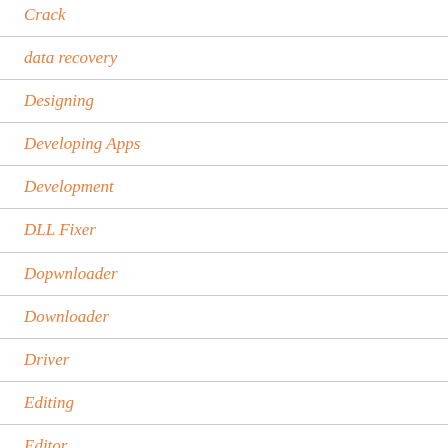Crack
data recovery
Designing
Developing Apps
Development
DLL Fixer
Dopwnloader
Downloader
Driver
Editing
Editor